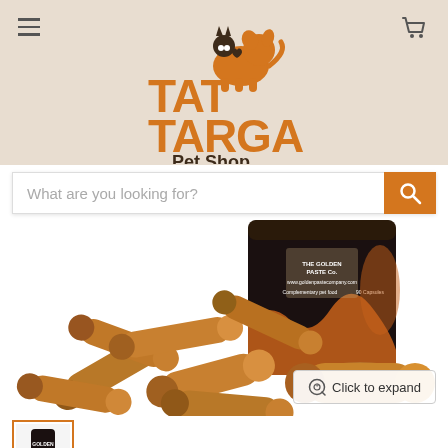[Figure (logo): TAT TARGA Pet Shop logo with orange text and dog/cat silhouette]
[Figure (photo): Product photo of Golden Paste Co. 90 capsules supplement bottle with brown/golden capsules scattered in front]
What are you looking for?
Click to expand